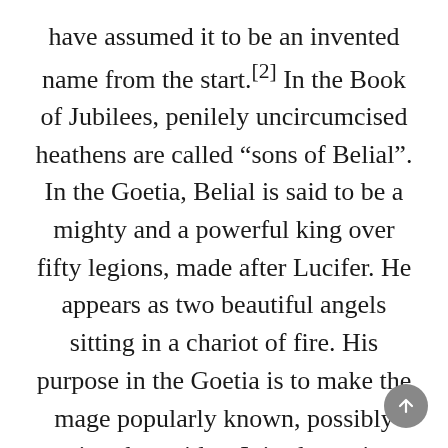have assumed it to be an invented name from the start.[2] In the Book of Jubilees, penilely uncircumcised heathens are called “sons of Belial”. In the Goetia, Belial is said to be a mighty and a powerful king over fifty legions, made after Lucifer. He appears as two beautiful angels sitting in a chariot of fire. His purpose in the Goetia is to make the mage popularly known, possibly getting them titles. It is also written that sacrifice must be given or he